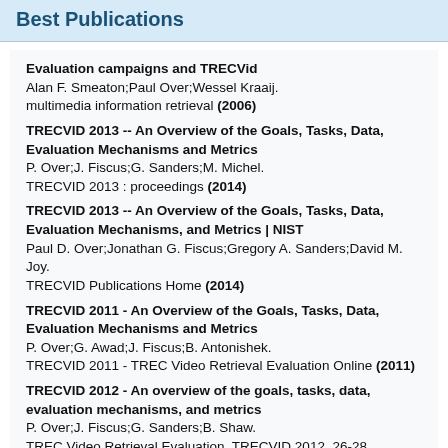Best Publications
Evaluation campaigns and TRECVid
Alan F. Smeaton;Paul Over;Wessel Kraaij.
multimedia information retrieval (2006)
TRECVID 2013 -- An Overview of the Goals, Tasks, Data, Evaluation Mechanisms and Metrics
P. Over;J. Fiscus;G. Sanders;M. Michel.
TRECVID 2013 : proceedings (2014)
TRECVID 2013 -- An Overview of the Goals, Tasks, Data, Evaluation Mechanisms, and Metrics | NIST
Paul D. Over;Jonathan G. Fiscus;Gregory A. Sanders;David M. Joy.
TRECVID Publications Home (2014)
TRECVID 2011 - An Overview of the Goals, Tasks, Data, Evaluation Mechanisms and Metrics
P. Over;G. Awad;J. Fiscus;B. Antonishek.
TRECVID 2011 - TREC Video Retrieval Evaluation Online (2011)
TRECVID 2012 - An overview of the goals, tasks, data, evaluation mechanisms, and metrics
P. Over;J. Fiscus;G. Sanders;B. Shaw.
TREC Video Retrieval Evaluation, TRECVID 2012, 26-28 November 2012, Gaithersburg, MD. USA (2013)
TRECVID 2014 - An Overview of the Goals, Tasks, Data,